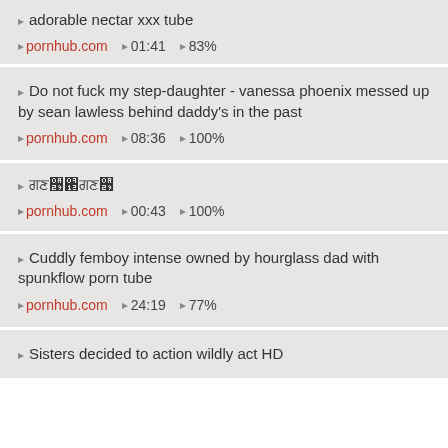adorable nectar xxx tube | pornhub.com | 01:41 | 83%
Do not fuck my step-daughter - vanessa phoenix messed up by sean lawless behind daddy's in the past | pornhub.com | 08:36 | 100%
| pornhub.com | 00:43 | 100%
Cuddly femboy intense owned by hourglass dad with spunkflow porn tube | pornhub.com | 24:19 | 77%
Sisters decided to action wildly act HD